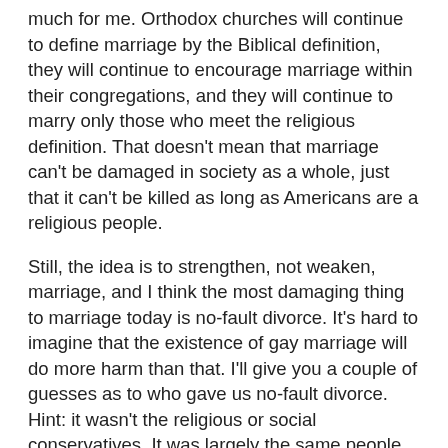much for me. Orthodox churches will continue to define marriage by the Biblical definition, they will continue to encourage marriage within their congregations, and they will continue to marry only those who meet the religious definition. That doesn't mean that marriage can't be damaged in society as a whole, just that it can't be killed as long as Americans are a religious people.
Still, the idea is to strengthen, not weaken, marriage, and I think the most damaging thing to marriage today is no-fault divorce. It's hard to imagine that the existence of gay marriage will do more harm than that. I'll give you a couple of guesses as to who gave us no-fault divorce. Hint: it wasn't the religious or social conservatives. It was largely the same people and groups who are now pushing for gay marriage. A cynic might think they were trying to harm marriage or something, but assuming that's not the case, and that the gays who want to marry have a vested interest in making marriage a stronger institution, I have a proposal: If you'll help me repeal no-fault divorce, I'll help you get gay marriage. We'll put them both in the same bill before the state legislatures. Yes, from my perspective, changing the